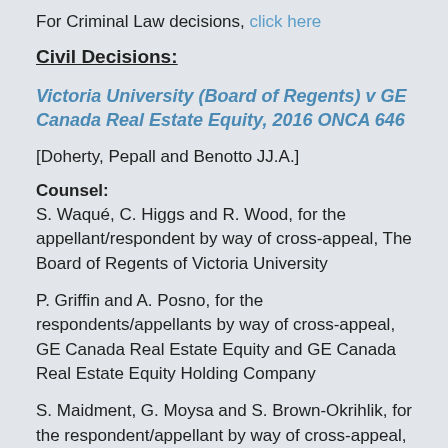For Criminal Law decisions, click here
Civil Decisions:
Victoria University (Board of Regents) v GE Canada Real Estate Equity, 2016 ONCA 646
[Doherty, Pepall and Benotto JJ.A.]
Counsel:
S. Waqué, C. Higgs and R. Wood, for the appellant/respondent by way of cross-appeal, The Board of Regents of Victoria University
P. Griffin and A. Posno, for the respondents/appellants by way of cross-appeal, GE Canada Real Estate Equity and GE Canada Real Estate Equity Holding Company
S. Maidment, G. Moysa and S. Brown-Okrihlik, for the respondent/appellant by way of cross-appeal, Revenue